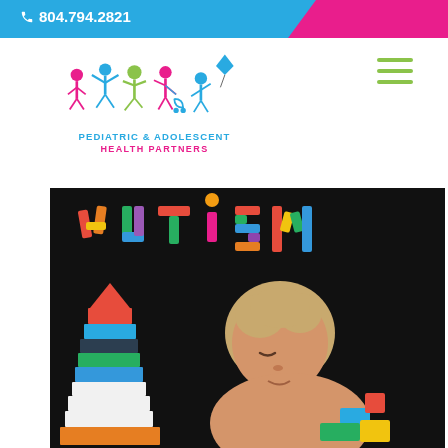804.794.2821
[Figure (logo): Pediatric & Adolescent Health Partners logo with colorful child figures and a kite]
[Figure (photo): Child playing with colorful building blocks against a black background, with the word AUTISM spelled out in colorful block letters above]